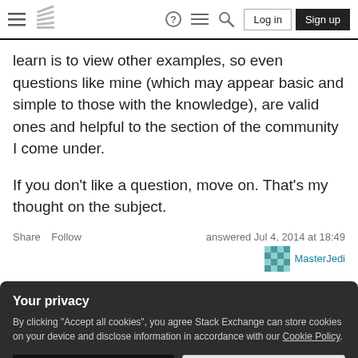Stack Exchange navigation bar with hamburger menu, logo, help, chat, search icons, Log in and Sign up buttons
learn is to view other examples, so even questions like mine (which may appear basic and simple to those with the knowledge), are valid ones and helpful to the section of the community I come under.
If you don't like a question, move on. That's my thought on the subject.
Share   Follow                    answered Jul 4, 2014 at 18:49
MasterJedi
Your privacy
By clicking "Accept all cookies", you agree Stack Exchange can store cookies on your device and disclose information in accordance with our Cookie Policy.
Accept all cookies   Customize settings
hardware and software are off-topic for